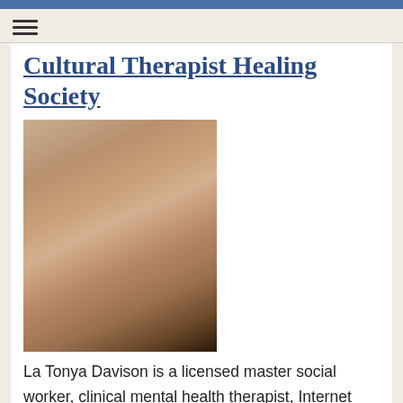Cultural Therapist Healing Society
Cultural Therapist Healing Society
[Figure (photo): Portrait photo of La Tonya Davison, a woman looking at the camera with her hand near her chin]
La Tonya Davison is a licensed master social worker, clinical mental health therapist, Internet radio show host, speaker, and stand up comedian. On her global, weekly radio show she guides audiences in examining current events with a fine-toothed, historical comb to observe patterns of human thought and behavior that lead to undesired outcomes, and ultimately, a